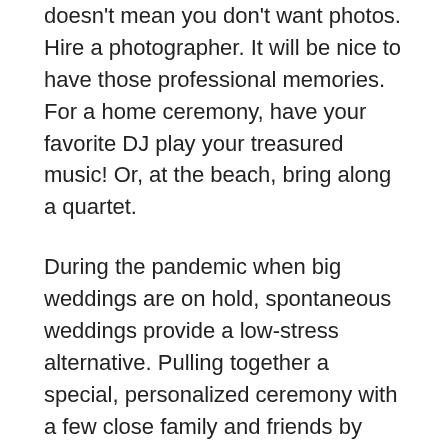doesn't mean you don't want photos. Hire a photographer. It will be nice to have those professional memories. For a home ceremony, have your favorite DJ play your treasured music! Or, at the beach, bring along a quartet.
During the pandemic when big weddings are on hold, spontaneous weddings provide a low-stress alternative. Pulling together a special, personalized ceremony with a few close family and friends by your side: Magnificent! If your heart is set on a big shindig, then celebrate again later, with the larger crowd.
Most important is to remember that it's all about your love. The old cliché, love conquers all is truer now, more than ever.
Find your perfect JP at findaJP.com